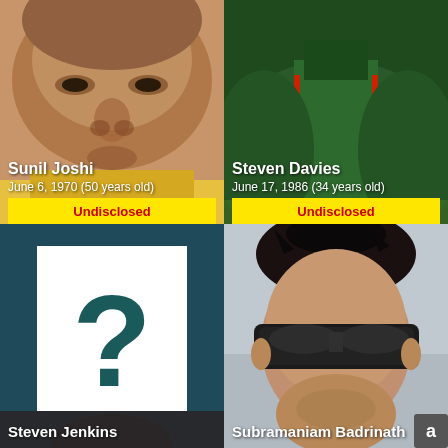[Figure (photo): Close-up photo of Sunil Joshi, a man's face with brown skin, yellow background]
Sunil Joshi
June 6, 1970 (50 years old)
Undisclosed
[Figure (photo): Photo of Steven Davies in a green sports jersey, cricket context]
Steven Davies
June 17, 1986 (34 years old)
Undisclosed
[Figure (photo): Placeholder image with question mark on white card, teal background, for Steven Jenkins]
Steven Jenkins
[Figure (photo): Close-up photo of Subramaniam Badrinath wearing dark sunglasses]
Subramaniam Badrinath